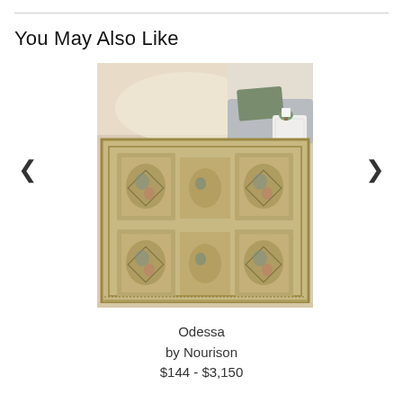You May Also Like
[Figure (photo): A decorative area rug with traditional/oriental pattern in muted beige, gold, green, and blue tones displayed in a bedroom setting with a gray sofa and white side table in the background.]
Odessa
by Nourison
$144 - $3,150